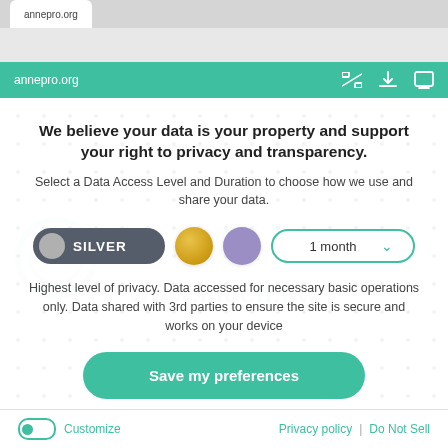annepro.org
We believe your data is your property and support your right to privacy and transparency.
Select a Data Access Level and Duration to choose how we use and share your data.
[Figure (infographic): Privacy level selector with SILVER toggle button (dark grey pill with grey circle knob), gold circle, purple circle, and '1 month' dropdown with teal border and chevron]
Highest level of privacy. Data accessed for necessary basic operations only. Data shared with 3rd parties to ensure the site is secure and works on your device
Save my preferences
Customize | Privacy policy | Do Not Sell